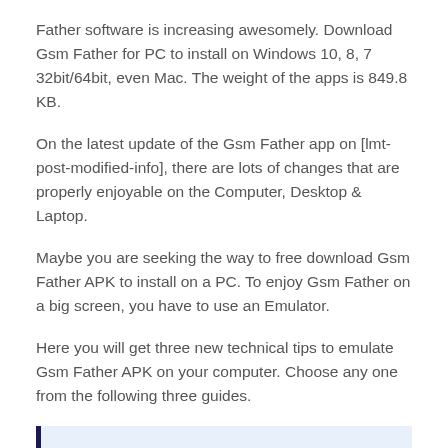Father software is increasing awesomely. Download Gsm Father for PC to install on Windows 10, 8, 7 32bit/64bit, even Mac. The weight of the apps is 849.8 KB.
On the latest update of the Gsm Father app on [lmt-post-modified-info], there are lots of changes that are properly enjoyable on the Computer, Desktop & Laptop.
Maybe you are seeking the way to free download Gsm Father APK to install on a PC. To enjoy Gsm Father on a big screen, you have to use an Emulator.
Here you will get three new technical tips to emulate Gsm Father APK on your computer. Choose any one from the following three guides.
Also Read: How To Download, Install, Play Or Use Android Apps On PC, Mac